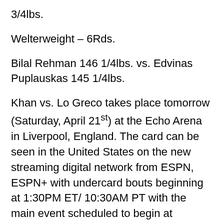3/4lbs.
Welterweight – 6Rds.
Bilal Rehman 146 1/4lbs. vs. Edvinas Puplauskas 145 1/4lbs.
Khan vs. Lo Greco takes place tomorrow (Saturday, April 21st) at the Echo Arena in Liverpool, England. The card can be seen in the United States on the new streaming digital network from ESPN, ESPN+ with undercard bouts beginning at 1:30PM ET/10:30AM PT with the main event scheduled to begin at approximately 5PM ET/2PM PT.  ESPN+ is available through the ESPN app for $4.99 a month or $49.99 per year. To subscribe to ESPN+ Click the ESPN+ tab within the ESPN app or visit: watch.espnplus.com/sports/ to subscribe as well as for a list of available streaming devices carrying the